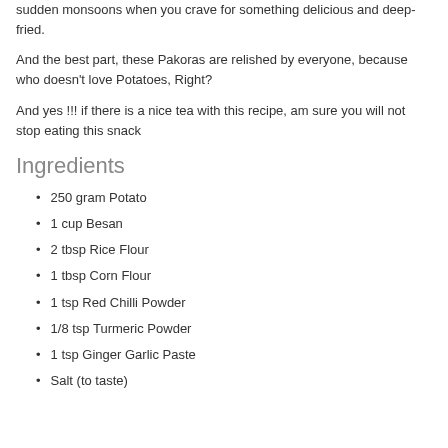sudden monsoons when you crave for something delicious and deep-fried.
And the best part, these Pakoras are relished by everyone, because who doesn't love Potatoes, Right?
And yes !!! if there is a nice tea with this recipe, am sure you will not stop eating this snack
Ingredients
250 gram Potato
1 cup Besan
2 tbsp Rice Flour
1 tbsp Corn Flour
1 tsp Red Chilli Powder
1/8 tsp Turmeric Powder
1 tsp Ginger Garlic Paste
Salt (to taste)